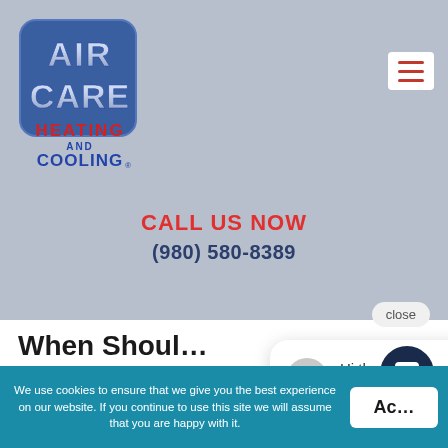[Figure (logo): Air Care Heating and Cooling logo with blue rounded square icon and red/blue text below]
[Figure (other): Hamburger menu icon, three red horizontal lines on white rounded rectangle background]
CALL US NOW
(980) 580-8389
When Shoul... Repair Profe...
If you have an AC unit that is not turning on or is not
[Figure (other): Chat popup bubble: 'Hi there, have a question? Text us here.' with grey avatar circle and close button]
We use cookies to ensure that we give you the best experience on our website. If you continue to use this site we will assume that you are happy with it.
Accept